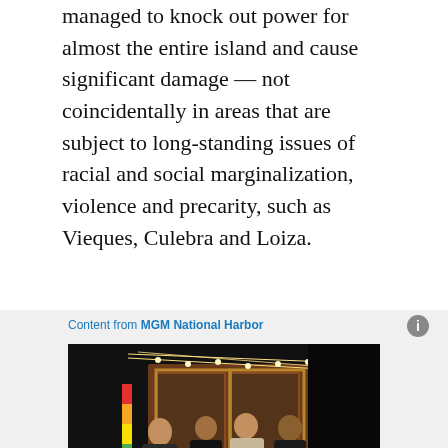managed to knock out power for almost the entire island and cause significant damage — not coincidentally in areas that are subject to long-standing issues of racial and social marginalization, violence and precarity, such as Vieques, Culebra and Loiza.
[Figure (photo): Advertisement from MGM National Harbor showing four people walking out of a venue entrance with string lights overhead. Below the photo: 'How D.C. celebrates friendship and Pride in style']
How D.C. celebrates friendship and Pride in style
[Figure (infographic): FEMA advertisement on green background: 'IF YOU CAN PLAN A WEDDING YOU CAN PLAN FOR A NATURAL DISASTER' with GET STARTED button and Ready/FEMA/ad logos]